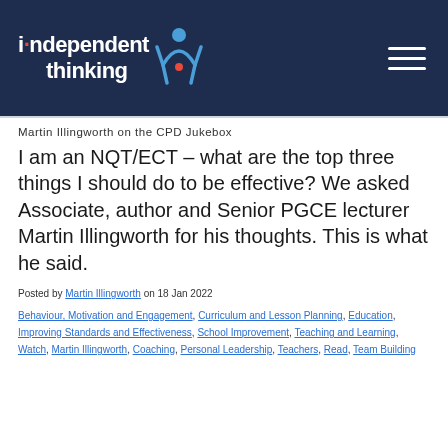[Figure (logo): Independent Thinking logo - white text on dark navy background with stick figure doing a cartwheel]
Martin Illingworth on the CPD Jukebox
I am an NQT/ECT – what are the top three things I should do to be effective? We asked Associate, author and Senior PGCE lecturer Martin Illingworth for his thoughts. This is what he said.
Posted by Martin Illingworth on 18 Jan 2022
Behaviour, Motivation and Engagement, Curriculum and Lesson Planning, Education, Improving Standards and Effectiveness, School Improvement, Teaching and Learning, Watch, Martin Illingworth, Coaching, Personal Leadership, Teachers, Read, Team Building